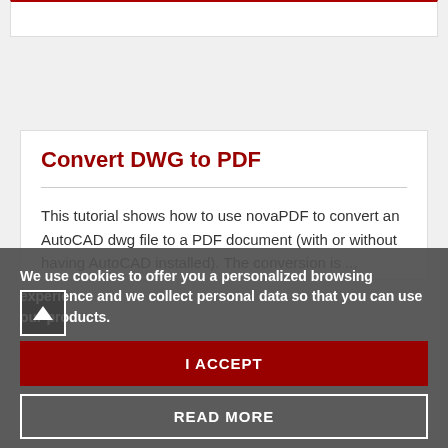Convert DWG to PDF
This tutorial shows how to use novaPDF to convert an AutoCAD dwg file to a PDF document (with or without having AutoCAD installed). The conversion is ...
We use cookies to offer you a personalized browsing experience and we collect personal data so that you can use our products.
I ACCEPT
READ MORE